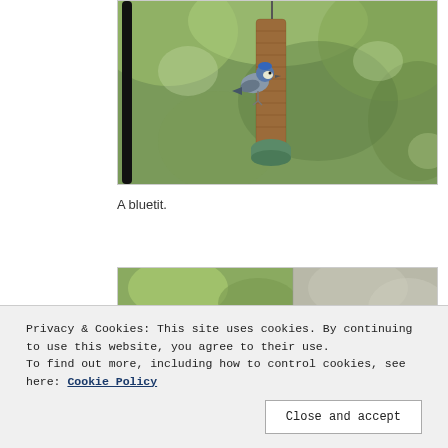[Figure (photo): A blue tit bird perched on a hanging cylindrical bird feeder filled with seeds, against a green leafy background]
A bluetit.
[Figure (photo): Partial view of another outdoor nature photograph, partially obscured by cookie consent banner]
Privacy & Cookies: This site uses cookies. By continuing to use this website, you agree to their use.
To find out more, including how to control cookies, see here: Cookie Policy
Close and accept